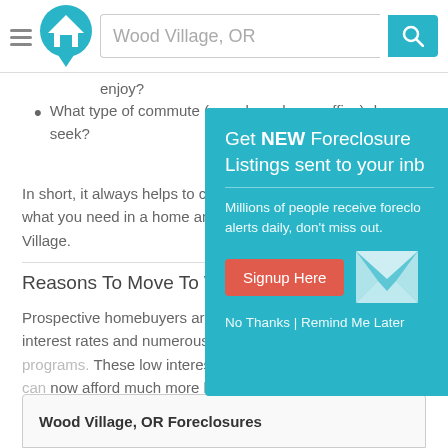[Figure (screenshot): Website header with hamburger menu, house logo in cyan speech bubble, search bar with 'Wood Village, OR' placeholder, and teal search button with magnifying glass icon]
enjoy?
What type of commute (car, plane, home office) do you seek?
In short, it always helps to create a "Pros vs. Cons" list of what you need in a home and/or neighborhood like Wood Village.
Reasons To Move To Wood Village, OR
Prospective homebuyers are clearing benefiting from low interest rates and numerous government mortgage programs. These low interest rates mean buyers like you can now afford much more house for the same payment (vs. when interest rates were higher). Motivated sellers and lenders in Wood Village, meanwhile, can help offer deals to qualified buyers.
[Figure (screenshot): Popup overlay with teal background: 'Get NEW Foreclosure Listings sent to your inbox', subtitle about millions of people, red Signup Here button, envelope icon, and No Thanks | Remind Me Later links]
Wood Village, OR Foreclosures